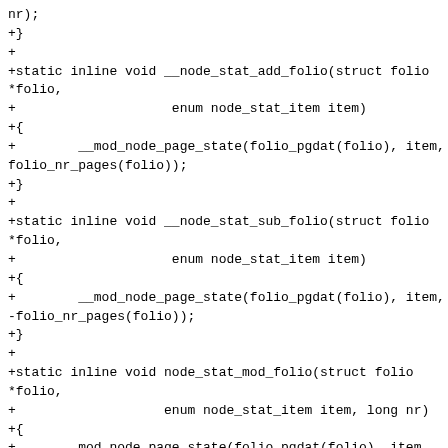nr);
+}
+
+static inline void __node_stat_add_folio(struct folio *folio,
+                    enum node_stat_item item)
+{
+        __mod_node_page_state(folio_pgdat(folio), item, folio_nr_pages(folio));
+}
+
+static inline void __node_stat_sub_folio(struct folio *folio,
+                    enum node_stat_item item)
+{
+        __mod_node_page_state(folio_pgdat(folio), item, -folio_nr_pages(folio));
+}
+
+static inline void node_stat_mod_folio(struct folio *folio,
+                   enum node_stat_item item, long nr)
+{
+        mod_node_page_state(folio_pgdat(folio), item, nr);
+}
+
+static inline void node_stat_add_folio(struct folio *folio,
+                   enum node_stat_item item)
+{